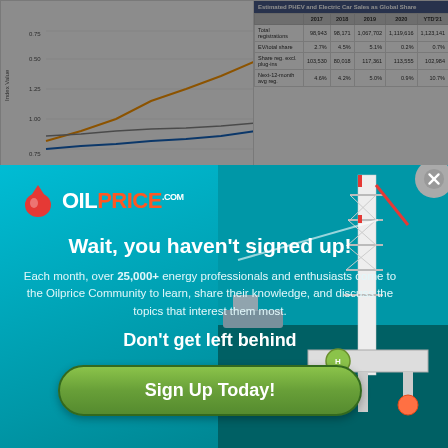[Figure (line-chart): Partially visible line chart in background, showing index values over time with multiple colored lines (orange, blue, gray)]
|  | 2017 | 2018 | 2019 | 2020 | YTD'21 |
| --- | --- | --- | --- | --- | --- |
| Total registrations | 98,943 | 98,171 | 1,067,702 | 1,119,616 | 1,123,141 |
| EV/Total share | 2.7% | 4.5% | 5.1% | 0.2% | 0.7% |
| Share reg. excl. plug-ins | 103,530 | 80,018 | 117,361 | 113,555 | 102,984 |
| Next-12-month avg reg. | 4.6% | 4.2% | 5.0% | 0.9% | 10.7% |
[Figure (screenshot): OilPrice.com modal popup overlay. Contains OilPrice logo (red drop + text), headline 'Wait, you haven't signed up!', body text about 25,000+ energy professionals, subheadline 'Don't get left behind', and green 'Sign Up Today!' button. Background shows blue ocean with oil drilling rig on right side.]
In Germany PHEV sales dropped by 10% YoY. All the growth is in BEV which grew by over a third.
Here is California, BEV outsell PHEV by 2.5x.